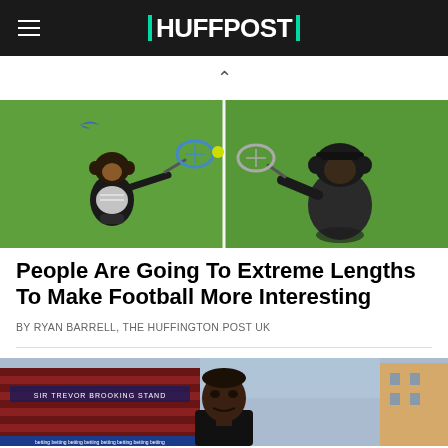HUFFPOST
[Figure (photo): Two primates on a football pitch playing tennis — a chimpanzee on the left holding a blue racket and hitting a yellow ball, a gorilla on the right holding a racket, separated by a white centre line]
People Are Going To Extreme Lengths To Make Football More Interesting
BY RYAN BARRELL, THE HUFFINGTON POST UK
[Figure (photo): A young black man standing in front of a football stadium grandstand with signage reading 'SIR TREVOR BROOKING STAND']